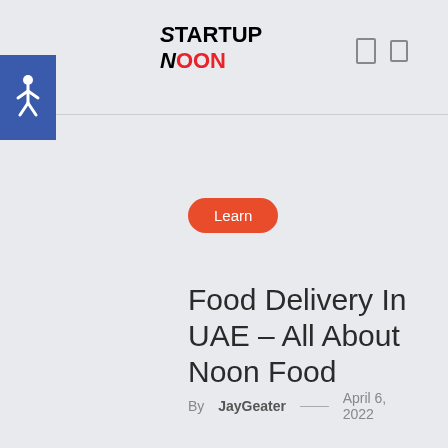STARTUP NOON
[Figure (logo): Accessibility wheelchair icon in blue square badge]
Learn
Food Delivery In UAE – All About Noon Food
By JayGeater — April 6, 2022